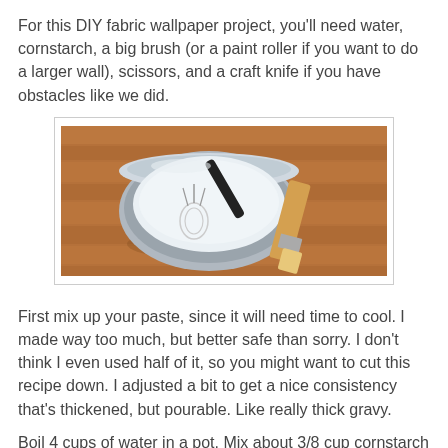For this DIY fabric wallpaper project, you'll need water, cornstarch, a big brush (or a paint roller if you want to do a larger wall), scissors, and a craft knife if you have obstacles like we did.
[Figure (photo): A metal mixing bowl with a whisk inside containing a white paste mixture, and a paintbrush lying beside it on a wooden floor surface.]
First mix up your paste, since it will need time to cool. I made way too much, but better safe than sorry. I don't think I even used half of it, so you might want to cut this recipe down. I adjusted a bit to get a nice consistency that's thickened, but pourable. Like really thick gravy.
Boil 4 cups of water in a pot. Mix about 3/8 cup cornstarch